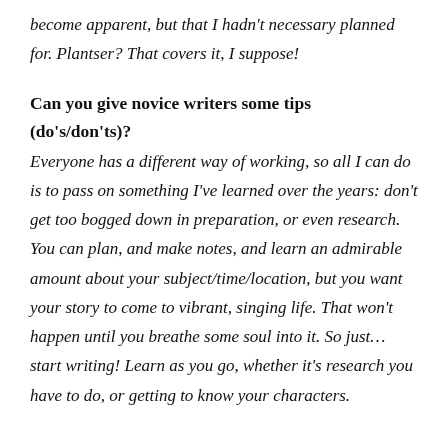become apparent, but that I hadn't necessary planned for. Plantser? That covers it, I suppose!
Can you give novice writers some tips (do's/don'ts)?
Everyone has a different way of working, so all I can do is to pass on something I've learned over the years: don't get too bogged down in preparation, or even research. You can plan, and make notes, and learn an admirable amount about your subject/time/location, but you want your story to come to vibrant, singing life. That won't happen until you breathe some soul into it. So just… start writing! Learn as you go, whether it's research you have to do, or getting to know your characters.